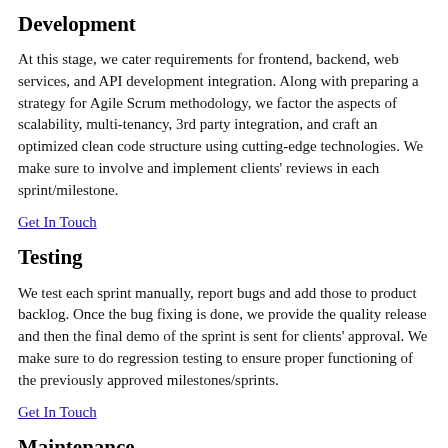Development
At this stage, we cater requirements for frontend, backend, web services, and API development integration. Along with preparing a strategy for Agile Scrum methodology, we factor the aspects of scalability, multi-tenancy, 3rd party integration, and craft an optimized clean code structure using cutting-edge technologies. We make sure to involve and implement clients' reviews in each sprint/milestone.
Get In Touch
Testing
We test each sprint manually, report bugs and add those to product backlog. Once the bug fixing is done, we provide the quality release and then the final demo of the sprint is sent for clients' approval. We make sure to do regression testing to ensure proper functioning of the previously approved milestones/sprints.
Get In Touch
Maintenance